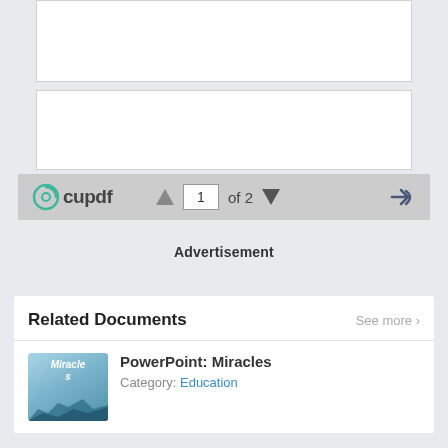[Figure (screenshot): PDF viewer interface showing two white panel areas (document pages), a toolbar with cupdf logo, page navigation controls (up arrow, page 1 input, 'of 2', down arrow), and a share arrow icon]
Advertisement
Related Documents
See more >
[Figure (photo): Thumbnail image for 'PowerPoint: Miracles' document showing text 'Miracles' and mountain silhouette with blue/teal background]
PowerPoint: Miracles
Category: Education